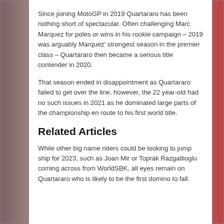Since joining MotoGP in 2019 Quartararo has been nothing short of spectacular. Often challenging Marc Marquez for poles or wins in his rookie campaign – 2019 was arguably Marquez' strongest season in the premier class – Quartararo then became a serious title contender in 2020.
That season ended in disappointment as Quartararo failed to get over the line, however, the 22 year-old had no such issues in 2021 as he dominated large parts of the championship en route to his first world title.
Related Articles
While other big name riders could be looking to jump ship for 2023, such as Joan Mir or Toprak Razgatlioglu coming across from WorldSBK, all eyes remain on Quartararo who is likely to be the first domino to fall.